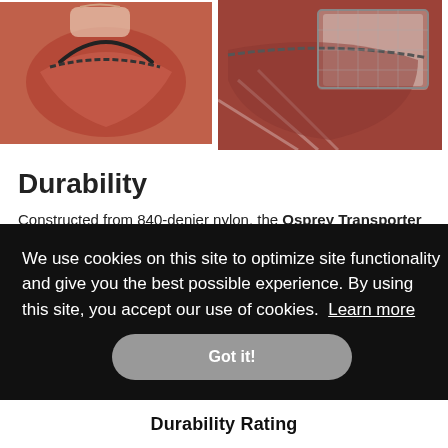[Figure (photo): Close-up photo of red/orange bag interior, zipper open, hand visible at top]
[Figure (photo): Close-up photo of red/maroon bag exterior with clear pocket and zipper]
Durability
Constructed from 840-denier nylon, the Osprey Transporter is relatively robust compared to the rest of our
We use cookies on this site to optimize site functionality and give you the best possible experience. By using this site, you accept our use of cookies. Learn more
Got it!
Durability Rating